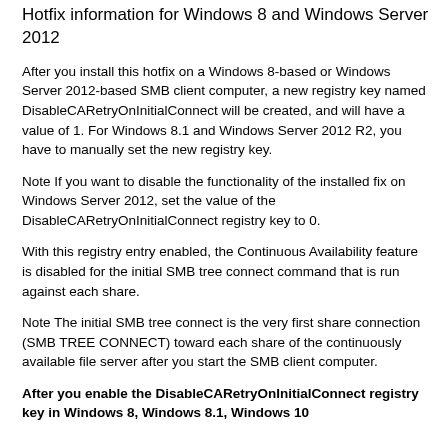Hotfix information for Windows 8 and Windows Server 2012
After you install this hotfix on a Windows 8-based or Windows Server 2012-based SMB client computer, a new registry key named DisableCARetryOnInitialConnect will be created, and will have a value of 1. For Windows 8.1 and Windows Server 2012 R2, you have to manually set the new registry key.
Note If you want to disable the functionality of the installed fix on Windows Server 2012, set the value of the DisableCARetryOnInitialConnect registry key to 0.
With this registry entry enabled, the Continuous Availability feature is disabled for the initial SMB tree connect command that is run against each share.
Note The initial SMB tree connect is the very first share connection (SMB TREE CONNECT) toward each share of the continuously available file server after you start the SMB client computer.
After you enable the DisableCARetryOnInitialConnect registry key in Windows 8, Windows 8.1, Windows 10